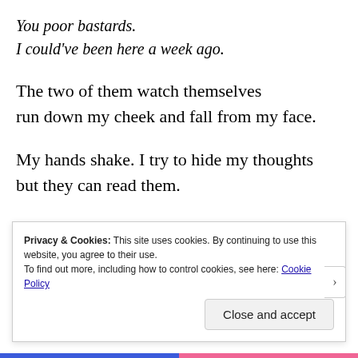You poor bastards.
I could've been here a week ago.
The two of them watch themselves
run down my cheek and fall from my face.
My hands shake. I try to hide my thoughts
but they can read them.
What's in the bag?
How about boiling the billy?
It's routine; the movements
Privacy & Cookies: This site uses cookies. By continuing to use this website, you agree to their use.
To find out more, including how to control cookies, see here: Cookie Policy